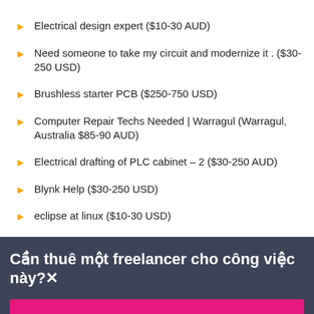Electrical design expert ($10-30 AUD)
Need someone to take my circuit and modernize it . ($30-250 USD)
Brushless starter PCB ($250-750 USD)
Computer Repair Techs Needed | Warragul (Warragul, Australia $85-90 AUD)
Electrical drafting of PLC cabinet – 2 ($30-250 AUD)
Blynk Help ($30-250 USD)
eclipse at linux ($10-30 USD)
Cần thuê một freelancer cho công việc này? ×
Đăng dự án ngay